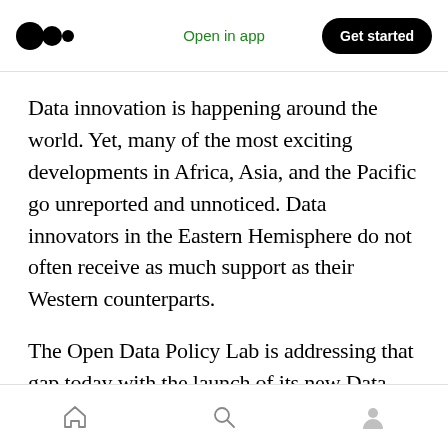Medium logo | Open in app | Get started
Data innovation is happening around the world. Yet, many of the most exciting developments in Africa, Asia, and the Pacific go unreported and unnoticed. Data innovators in the Eastern Hemisphere do not often receive as much support as their Western counterparts.
The Open Data Policy Lab is addressing that gap today with the launch of its new Data Stewards Academy cohort focused on this region. From April to June 2022, leaders in data stewardship from fourteen different countries, from China to
Home | Search | Profile